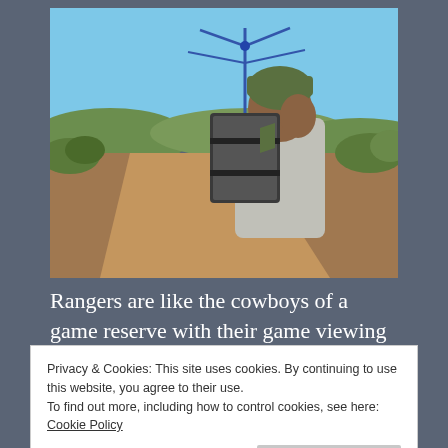[Figure (photo): A person wearing a green beanie hat and light grey jacket, carrying a large rectangular radio tracking device/antenna on their back, standing outdoors in a dry African bush landscape with red dirt road and sparse vegetation under a clear blue sky.]
Rangers are like the cowboys of a game reserve with their game viewing vehicle as their steed, a
Privacy & Cookies: This site uses cookies. By continuing to use this website, you agree to their use.
To find out more, including how to control cookies, see here: Cookie Policy
with the thing in his hand that looks like a tv